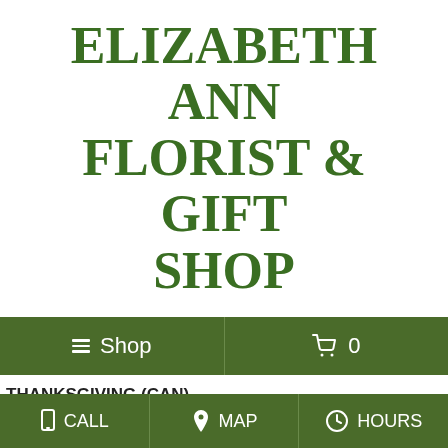ELIZABETH ANN FLORIST & GIFT SHOP
[Figure (screenshot): Navigation bar with Shop menu button and cart icon showing 0 items, green background]
THANKSGIVING (CAN)
Order within 10 hours 40 minutes for Same Day Delivery!
CALL   MAP   HOURS